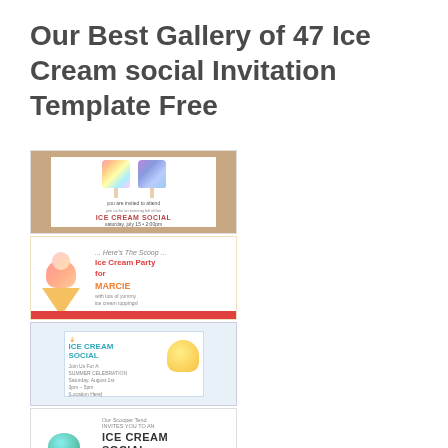Our Best Gallery of 47 Ice Cream social Invitation Template Free
[Figure (illustration): Ice cream social invitation with two watercolor popsicles on a brown wood background]
[Figure (illustration): Here's The Scoop ice cream party invitation with soft-serve cone on red/white background]
[Figure (illustration): Ice Cream Social invitation with teal lettering and lemon illustration on blue-gray card]
[Figure (illustration): Ice Cream Social invitation with triple-scoop cone]
[Figure (illustration): Partial view of colorful polka-dot ice cream invitation (bottom of page)]